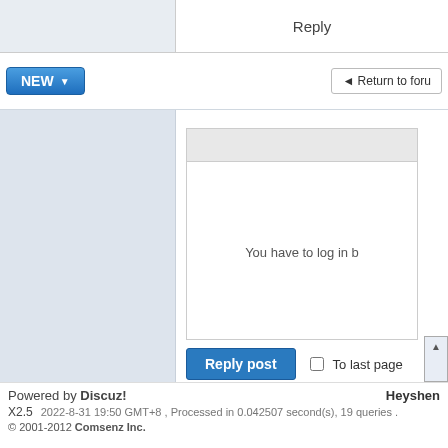Reply
[Figure (screenshot): NEW button with dropdown arrow and Return to forum button]
You have to log in b
[Figure (screenshot): Reply post button and To last page checkbox]
Powered by Discuz! X2.5 Heyshen 2022-8-31 19:50 GMT+8 , Processed in 0.042507 second(s), 19 queries . © 2001-2012 Comsenz Inc.